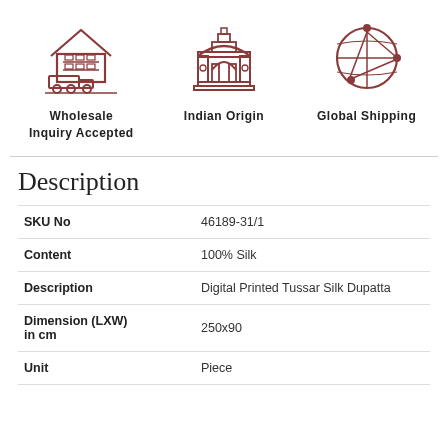[Figure (illustration): Three icons in a row: warehouse/shipping truck icon labeled 'Wholesale Inquiry Accepted', India Gate monument icon labeled 'Indian Origin', and globe with network lines icon labeled 'Global Shipping']
Description
| SKU No | 46189-31/1 |
| Content | 100% Silk |
| Description | Digital Printed Tussar Silk Dupatta |
| Dimension (LXW) in cm | 250x90 |
| Unit | Piece |